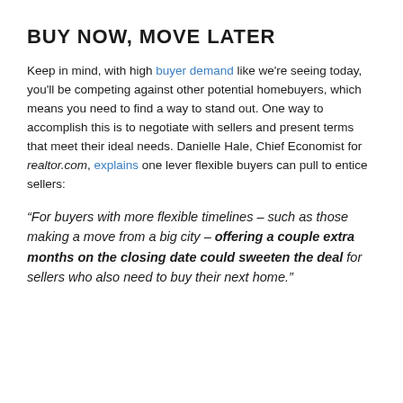BUY NOW, MOVE LATER
Keep in mind, with high buyer demand like we're seeing today, you'll be competing against other potential homebuyers, which means you need to find a way to stand out. One way to accomplish this is to negotiate with sellers and present terms that meet their ideal needs. Danielle Hale, Chief Economist for realtor.com, explains one lever flexible buyers can pull to entice sellers:
“For buyers with more flexible timelines – such as those making a move from a big city – offering a couple extra months on the closing date could sweeten the deal for sellers who also need to buy their next home.”